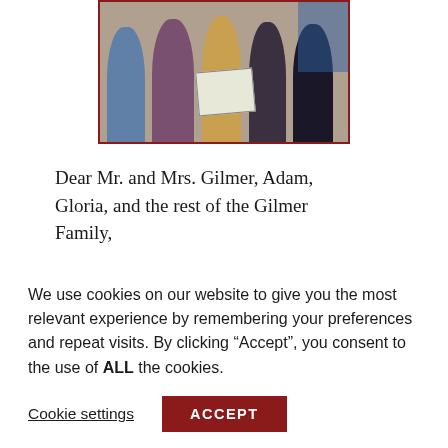[Figure (photo): Group photo of several people posing together, one person holding a framed certificate or award. Photo has a dark red/maroon border.]
Dear Mr. and Mrs. Gilmer, Adam, Gloria, and the rest of the Gilmer Family,
First off, I would like to thank all of you for your generosity in the Alex Gilmer Scholarship which funds will allow me to complete my license in the very near future. Throughout the
We use cookies on our website to give you the most relevant experience by remembering your preferences and repeat visits. By clicking “Accept”, you consent to the use of ALL the cookies.
Cookie settings
ACCEPT